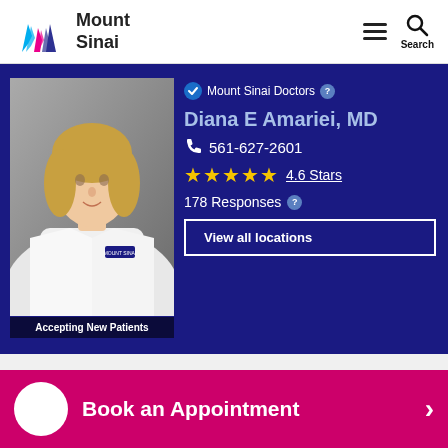Mount Sinai
[Figure (photo): Portrait photo of Dr. Diana E Amariei, MD, wearing a white lab coat, with blonde hair, in front of a gray background. Text overlay at bottom reads 'Accepting New Patients'.]
Mount Sinai Doctors
Diana E Amariei, MD
561-627-2601
4.6 Stars
178 Responses
View all locations
Book an Appointment